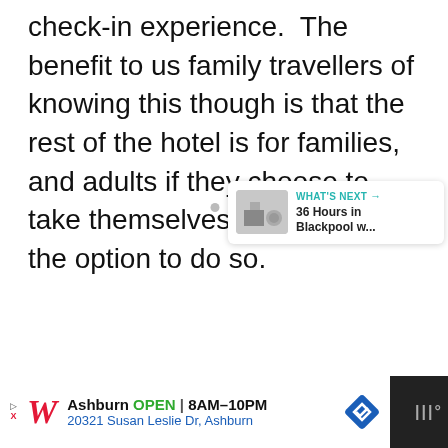check-in experience.  The benefit to us family travellers of knowing this though is that the rest of the hotel is for families, and adults if they choose to take themselves away, have the option to do so.
[Figure (photo): Large image area (mostly white/light gray placeholder) with a heart/like button showing 35 likes, a share button, dot navigation indicators, and a 'What's Next' card showing '36 Hours in Blackpool w...' with a thumbnail photo.]